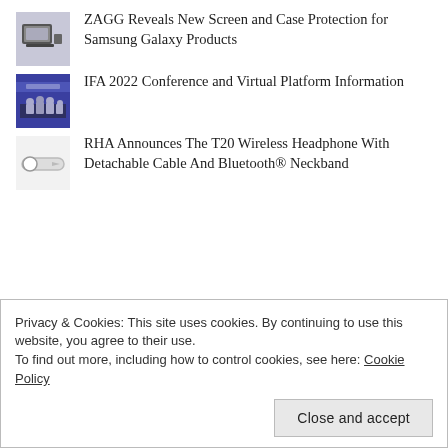ZAGG Reveals New Screen and Case Protection for Samsung Galaxy Products
IFA 2022 Conference and Virtual Platform Information
RHA Announces The T20 Wireless Headphone With Detachable Cable And Bluetooth® Neckband
Privacy & Cookies: This site uses cookies. By continuing to use this website, you agree to their use.
To find out more, including how to control cookies, see here: Cookie Policy